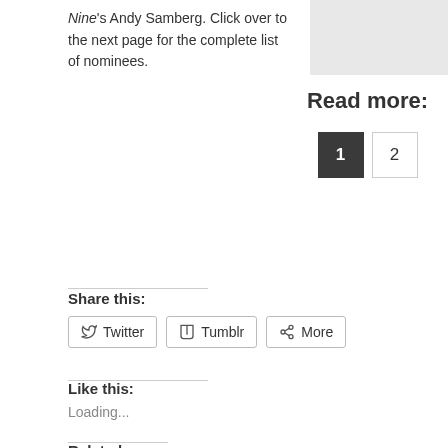Nine's Andy Samberg. Click over to the next page for the complete list of nominees.
Read more:
1  2
Share this:
Twitter  Tumblr  More
Like this:
Loading...
Related